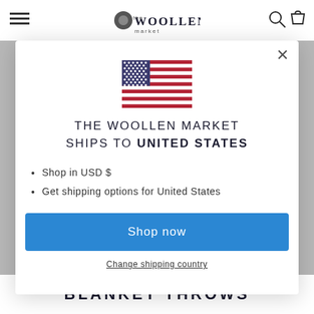[Figure (screenshot): Website header with hamburger menu, The Woollen Market logo, search and cart icons]
[Figure (illustration): US flag SVG illustration inside modal popup]
THE WOOLLEN MARKET SHIPS TO UNITED STATES
Shop in USD $
Get shipping options for United States
Shop now
Change shipping country
BLANKET THROWS